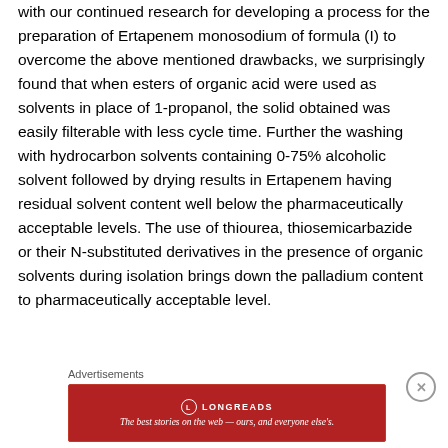with our continued research for developing a process for the preparation of Ertapenem monosodium of formula (I) to overcome the above mentioned drawbacks, we surprisingly found that when esters of organic acid were used as solvents in place of 1-propanol, the solid obtained was easily filterable with less cycle time. Further the washing with hydrocarbon solvents containing 0-75% alcoholic solvent followed by drying results in Ertapenem having residual solvent content well below the pharmaceutically acceptable levels. The use of thiourea, thiosemicarbazide or their N-substituted derivatives in the presence of organic solvents during isolation brings down the palladium content to pharmaceutically acceptable level.
Advertisements
[Figure (other): Longreads advertisement banner: red background with Longreads logo and tagline 'The best stories on the web — ours, and everyone else's.']